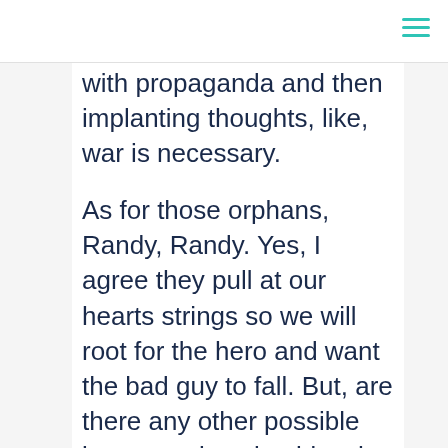with propaganda and then implanting thoughts, like, war is necessary.

As for those orphans, Randy, Randy. Yes, I agree they pull at our hearts strings so we will root for the hero and want the bad guy to fall. But, are there any other possible interpretations besides the mind virus that rich people are evil? I am not saying that is not a mind virus, it is or a stereotype